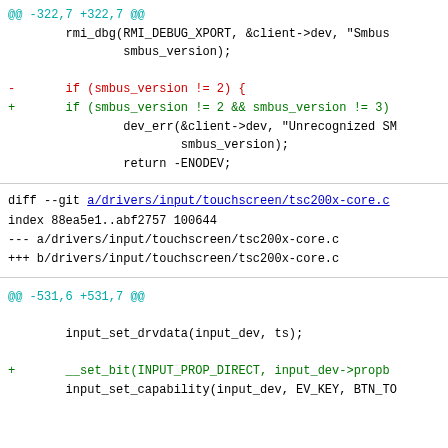@@ -322,7 +322,7 @@
        rmi_dbg(RMI_DEBUG_XPORT, &client->dev, "Smbus
                smbus_version);

-       if (smbus_version != 2) {
+       if (smbus_version != 2 && smbus_version != 3)
                dev_err(&client->dev, "Unrecognized SM
                        smbus_version);
                return -ENODEV;
diff --git a/drivers/input/touchscreen/tsc200x-core.c
index 88ea5e1..abf2757 100644
--- a/drivers/input/touchscreen/tsc200x-core.c
+++ b/drivers/input/touchscreen/tsc200x-core.c
@@ -531,6 +531,7 @@

        input_set_drvdata(input_dev, ts);

+       __set_bit(INPUT_PROP_DIRECT, input_dev->propb
        input_set_capability(input_dev, EV_KEY, BTN_TO